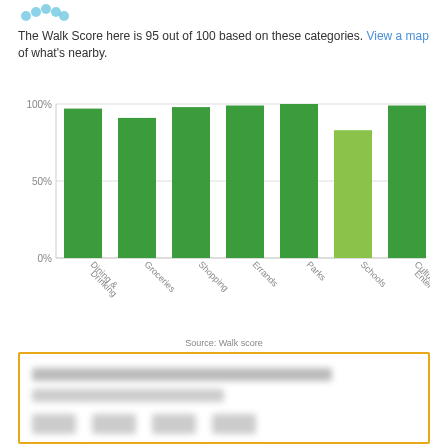[Figure (logo): Walk Score logo icon (blue footsteps)]
The Walk Score here is 95 out of 100 based on these categories. View a map of what's nearby.
[Figure (bar-chart): Walk Score categories]
Source: Walk score
[Figure (other): Blurred/redacted content box with orange border containing obscured text and numbers]